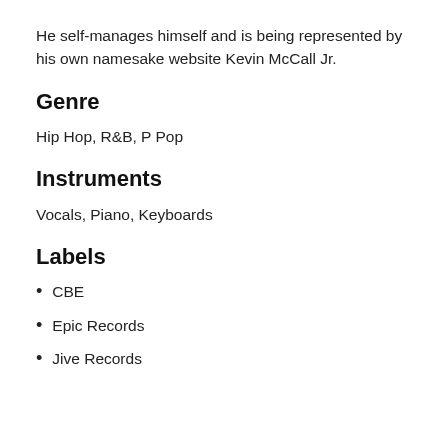He self-manages himself and is being represented by his own namesake website Kevin McCall Jr.
Genre
Hip Hop, R&B, P Pop
Instruments
Vocals, Piano, Keyboards
Labels
CBE
Epic Records
Jive Records